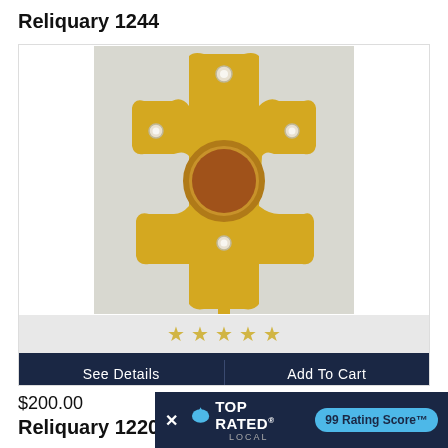Reliquary 1244
[Figure (photo): Gold cross-shaped reliquary with a circular red/brown relic window in the center, decorated with crystal/diamond accents at the tips and center, on a gold stand]
$200.00
Reliquary 1220
[Figure (infographic): Top Rated Local advertisement banner showing a blue bird logo, TOP RATED LOCAL text, X close button, and 99 Rating Score badge in teal]